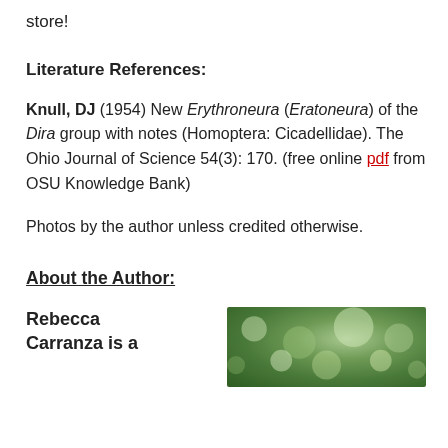store!
Literature References:
Knull, DJ (1954) New Erythroneura (Eratoneura) of the Dira group with notes (Homoptera: Cicadellidae). The Ohio Journal of Science 54(3): 170. (free online pdf from OSU Knowledge Bank)
Photos by the author unless credited otherwise.
About the Author:
Rebecca Carranza is a
[Figure (photo): Close-up photo of green foliage, blurry bokeh background]